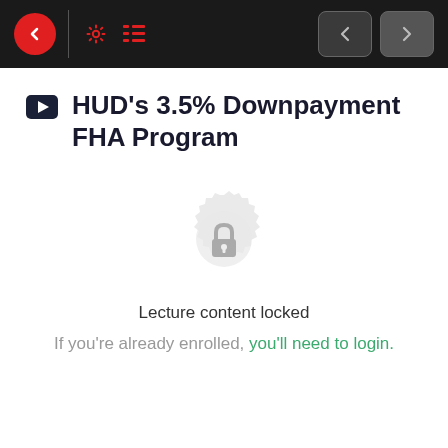Navigation toolbar with back, settings, list, previous and next buttons
HUD's 3.5% Downpayment FHA Program
[Figure (illustration): A lock icon centered on a decorative circular badge/seal shape, indicating locked content]
Lecture content locked
If you're already enrolled, you'll need to login.